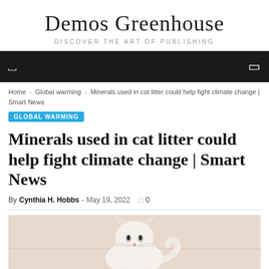Demos Greenhouse
DISCOVER THE ART OF PUBLISHING
Navigation bar
Home › Global warming › Minerals used in cat litter could help fight climate change | Smart News
GLOBAL WARMING
Minerals used in cat litter could help fight climate change | Smart News
By Cynthia H. Hobbs - May 19, 2022  0
[Figure (photo): A white fluffy cat photographed against a light beige/cream background]